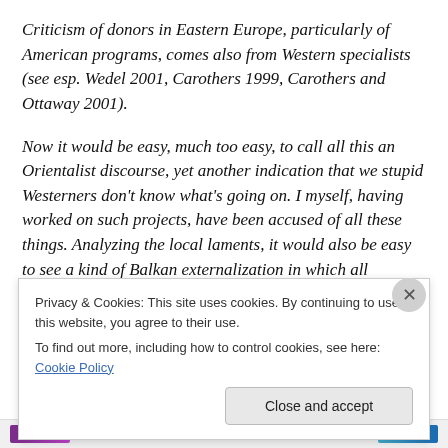Criticism of donors in Eastern Europe, particularly of American programs, comes also from Western specialists (see esp. Wedel 2001, Carothers 1999, Carothers and Ottaway 2001).
Now it would be easy, much too easy, to call all this an Orientalist discourse, yet another indication that we stupid Westerners don't know what's going on. I myself, having worked on such projects, have been accused of all these things. Analyzing the local laments, it would also be easy to see a kind of Balkan externalization in which all
Privacy & Cookies: This site uses cookies. By continuing to use this website, you agree to their use.
To find out more, including how to control cookies, see here: Cookie Policy